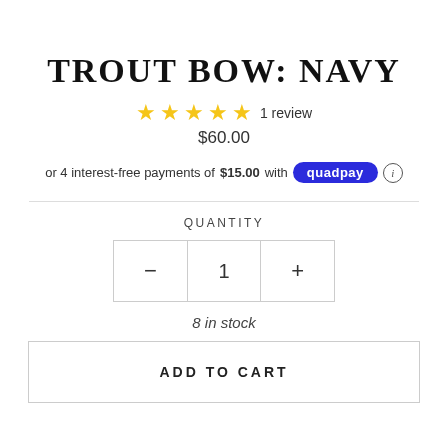TROUT BOW: NAVY
★★★★★ 1 review
$60.00
or 4 interest-free payments of $15.00 with quadpay ⓘ
QUANTITY
- 1 +
8 in stock
ADD TO CART